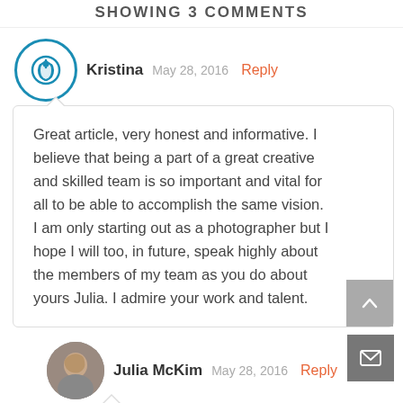SHOWING 3 COMMENTS
Kristina   May 28, 2016   Reply
Great article, very honest and informative. I believe that being a part of a great creative and skilled team is so important and vital for all to be able to accomplish the same vision. I am only starting out as a photographer but I hope I will too, in future, speak highly about the members of my team as you do about yours Julia. I admire your work and talent.
Julia McKim   May 28, 2016   Reply
Thank you Kristina!